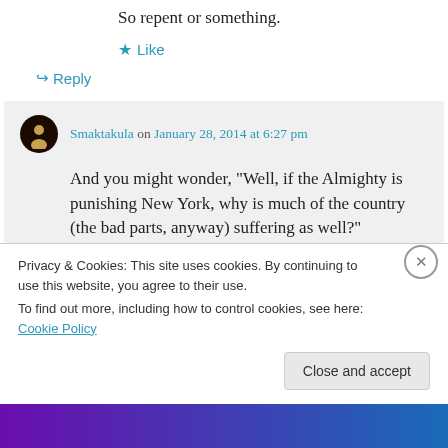So repent or something.
★ Like
↪ Reply
Smaktakula on January 28, 2014 at 6:27 pm
And you might wonder, "Well, if the Almighty is punishing New York, why is much of the country (the bad parts, anyway) suffering as well?"
Privacy & Cookies: This site uses cookies. By continuing to use this website, you agree to their use.
To find out more, including how to control cookies, see here: Cookie Policy